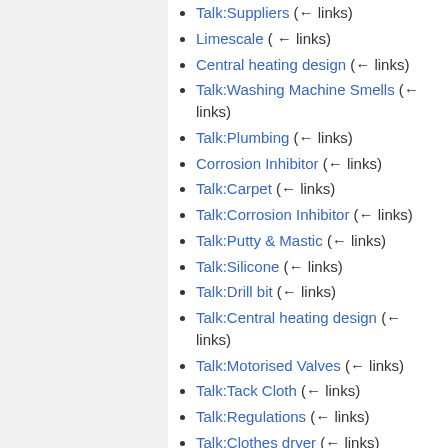Limescale (← links)
Central heating design (← links)
Talk:Washing Machine Smells (← links)
Talk:Plumbing (← links)
Corrosion Inhibitor (← links)
Talk:Carpet (← links)
Talk:Corrosion Inhibitor (← links)
Talk:Putty & Mastic (← links)
Talk:Silicone (← links)
Talk:Drill bit (← links)
Talk:Central heating design (← links)
Talk:Motorised Valves (← links)
Talk:Tack Cloth (← links)
Talk:Regulations (← links)
Talk:Clothes dryer (← links)
Talk:Lighting Links (← links)
Talk:Cable organising (← links)
Talk:Fitting TRVs to Microbore (← links)